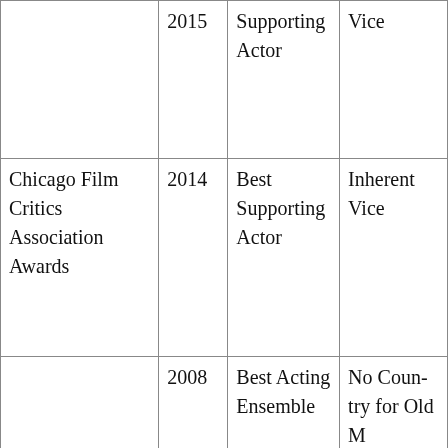| Organization | Year | Category | Film |
| --- | --- | --- | --- |
|  | 2015 | Supporting Actor | Vice |
| Chicago Film Critics Association Awards | 2014 | Best Supporting Actor | Inherent Vice |
|  | 2008 | Best Acting Ensemble | No Country for Old Men |
|  | 2009 | Best Supporting Actor | Milk |
| Critics Choice Movie Awards |  | Best Acting |  |